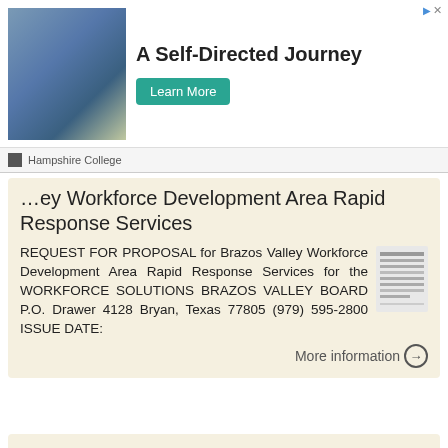[Figure (photo): Advertisement banner: Hampshire College - A Self-Directed Journey with Learn More button and photo of a person]
Valley Workforce Development Area Rapid Response Services
REQUEST FOR PROPOSAL for Brazos Valley Workforce Development Area Rapid Response Services for the WORKFORCE SOLUTIONS BRAZOS VALLEY BOARD P.O. Drawer 4128 Bryan, Texas 77805 (979) 595-2800 ISSUE DATE:
More information →
Proposals due May 18 th, 2018 at 4:30 PM. Indicate on the Sealed Envelope Do Not Open with Regular Mail.